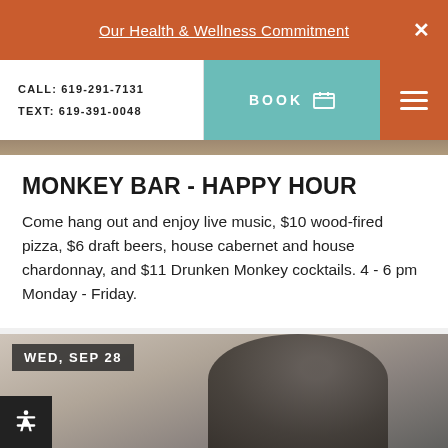Our Health & Wellness Commitment
CALL: 619-291-7131
TEXT: 619-391-0048
BOOK
MONKEY BAR - HAPPY HOUR
Come hang out and enjoy live music, $10 wood-fired pizza, $6 draft beers, house cabernet and house chardonnay, and $11 Drunken Monkey cocktails. 4 - 6 pm Monday - Friday.
[Figure (photo): Photo of a person's head/silhouette with a date label 'WED, SEP 28' overlaid in dark semi-transparent box]
WED, SEP 28